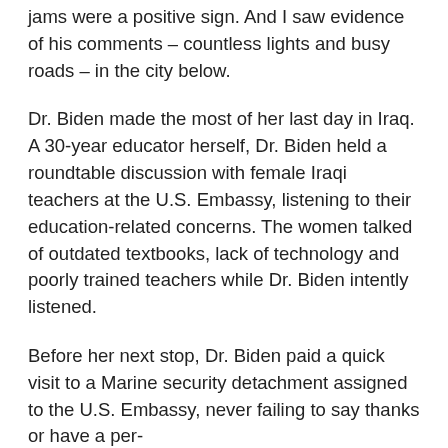jams were a positive sign. And I saw evidence of his comments – countless lights and busy roads – in the city below.
Dr. Biden made the most of her last day in Iraq. A 30-year educator herself, Dr. Biden held a roundtable discussion with female Iraqi teachers at the U.S. Embassy, listening to their education-related concerns. The women talked of outdated textbooks, lack of technology and poorly trained teachers while Dr. Biden intently listened.
Before her next stop, Dr. Biden paid a quick visit to a Marine security detachment assigned to the U.S. Embassy, never failing to say thanks or have a per-